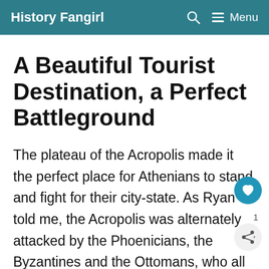History Fangirl
A Beautiful Tourist Destination, a Perfect Battleground
The plateau of the Acropolis made it the perfect place for Athenians to stand and fight for their city-state. As Ryan told me, the Acropolis was alternately attacked by the Phoenicians, the Byzantines and the Ottomans, who all left their cultural touch on the landmark. But after it gained its independence from the Ottomans, the citizenry of Athens...